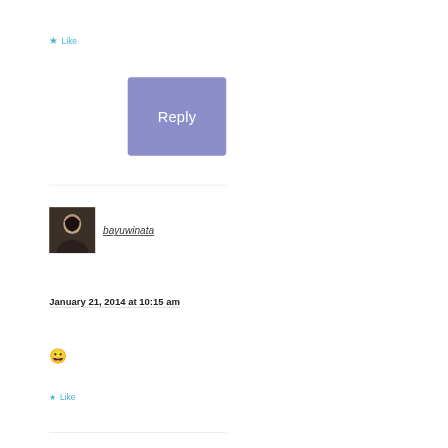★ Like
[Figure (other): Purple Reply button]
bayuwinata
January 21, 2014 at 10:15 am
😀
★ Like